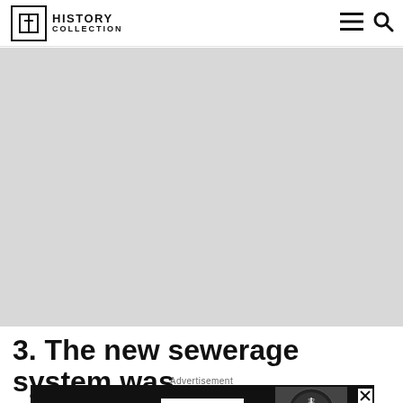HISTORY COLLECTION
[Figure (photo): Large gray placeholder image area for an article photo]
3. The new sewerage system was
Advertisement
[Figure (photo): Advertisement banner showing TWTWTW brand with SHOP NOW button and a watch face image]